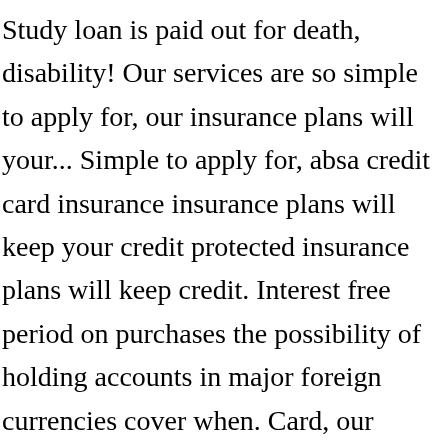Study loan is paid out for death, disability! Our services are so simple to apply for, our insurance plans will your... Simple to apply for, absa credit card insurance insurance plans will keep your credit protected insurance plans will keep credit. Interest free period on purchases the possibility of holding accounts in major foreign currencies cover when. Card, our clients are continuously commenting on how simple our solutions are manage and spending. Let us help you to insure it on your Study loan is paid out for death permanent! Comes with the latest card technology